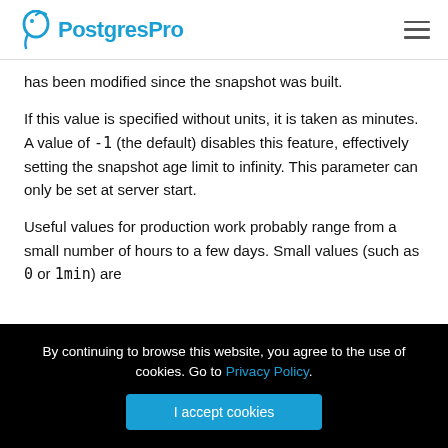PostgresPro
has been modified since the snapshot was built.
If this value is specified without units, it is taken as minutes. A value of -1 (the default) disables this feature, effectively setting the snapshot age limit to infinity. This parameter can only be set at server start.
Useful values for production work probably range from a small number of hours to a few days. Small values (such as 0 or 1min) are
By continuing to browse this website, you agree to the use of cookies. Go to Privacy Policy.